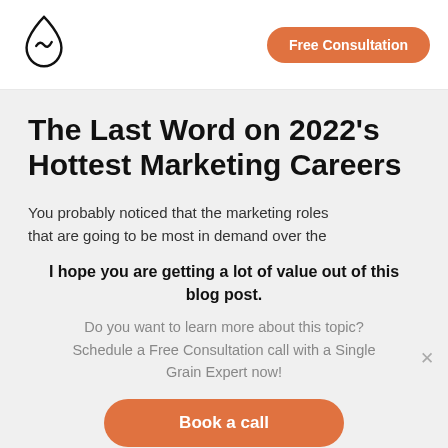[Figure (logo): Single Grain flame/drop logo in black outline]
Free Consultation
The Last Word on 2022's Hottest Marketing Careers
You probably noticed that the marketing roles that are going to be most in demand over the
I hope you are getting a lot of value out of this blog post.
Do you want to learn more about this topic? Schedule a Free Consultation call with a Single Grain Expert now!
Book a call